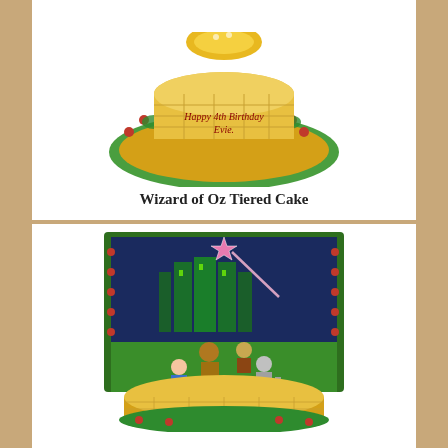[Figure (photo): Wizard of Oz Tiered Cake with yellow brick road pattern, green fondant base with red flowers, and 'Happy 4th Birthday Evie.' written in red icing]
Wizard of Oz Tiered Cake
[Figure (photo): Wizard of Oz themed cake with fondant figures of Dorothy, Tin Man, Cowardly Lion, and Scarecrow on a yellow brick road, with Emerald City backdrop and pink star, green decorative border with red roses]